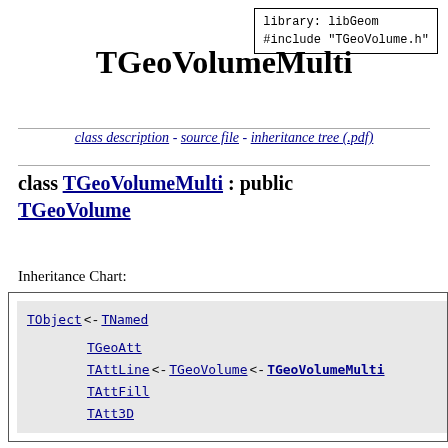library: libGeom
#include "TGeoVolume.h"
TGeoVolumeMulti
class description - source file - inheritance tree (.pdf)
class TGeoVolumeMulti : public TGeoVolume
Inheritance Chart:
[Figure (other): Inheritance chart showing TObject <- TNamed, TGeoAtt, TAttLine <- TGeoVolume <- TGeoVolumeMulti, TAttFill, TAtt3D]